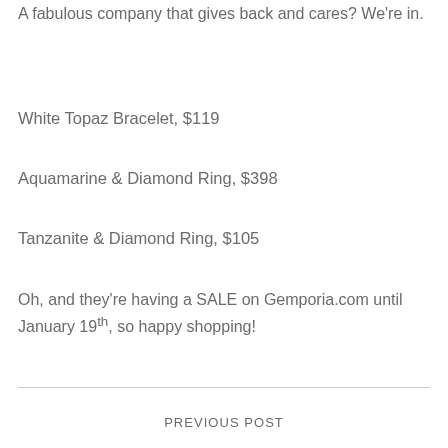A fabulous company that gives back and cares? We're in.
White Topaz Bracelet, $119
Aquamarine & Diamond Ring, $398
Tanzanite & Diamond Ring, $105
Oh, and they're having a SALE on Gemporia.com until January 19th, so happy shopping!
PREVIOUS POST